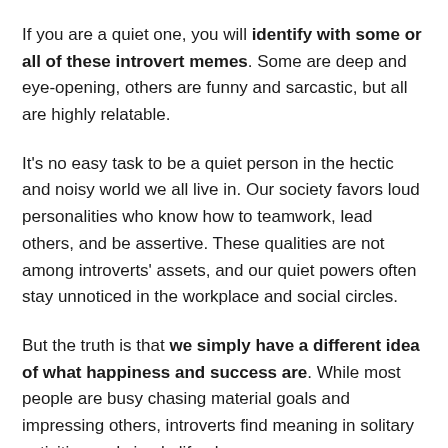If you are a quiet one, you will identify with some or all of these introvert memes. Some are deep and eye-opening, others are funny and sarcastic, but all are highly relatable.
It's no easy task to be a quiet person in the hectic and noisy world we all live in. Our society favors loud personalities who know how to teamwork, lead others, and be assertive. These qualities are not among introverts' assets, and our quiet powers often stay unnoticed in the workplace and social circles.
But the truth is that we simply have a different idea of what happiness and success are. While most people are busy chasing material goals and impressing others, introverts find meaning in solitary activities and simple life pleasures.